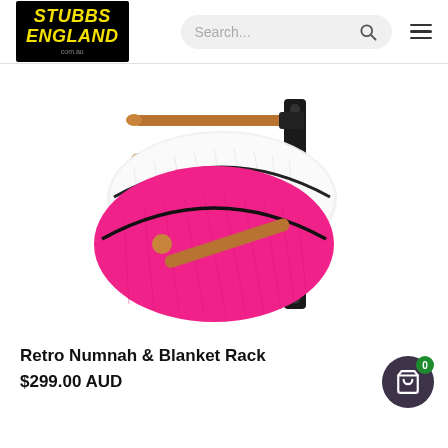[Figure (logo): Stubbs England logo — black background with yellow italic text reading STUBBS ENGLAND with com.au below]
[Figure (screenshot): Search bar UI element with placeholder text 'Search...' and a magnifying glass icon, plus a hamburger menu icon]
[Figure (photo): Photo of a Retro Numnah & Blanket Rack — a black wall-mounted rack with wooden dowel arms holding pink and white saddle pads/numnahs]
Retro Numnah & Blanket Rack
$299.00 AUD